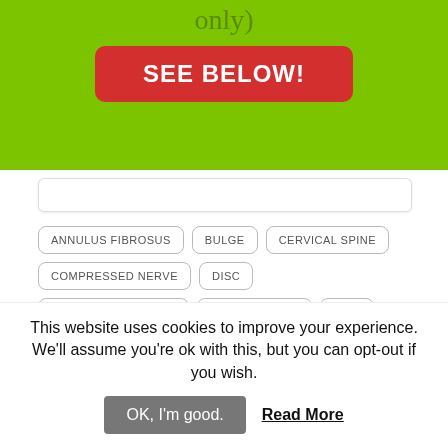only)
SEE BELOW!
ANNULUS FIBROSUS
BULGE
CERVICAL SPINE
COMPRESSED NERVE
DISC
DISC DEGENERATION
DISC THINNING
DISK
HERNIATION
HYPETONIC MUSCULATURE
INTERVERTEBRAL FORAMEN
IVF
JOINT COMPRESSION
NECK
NECK PAIN
NUCLEUS PULPOSUS
PINCHED NERVE
RADIATION
This website uses cookies to improve your experience. We'll assume you're ok with this, but you can opt-out if you wish.
OK, I'm good.
Read More